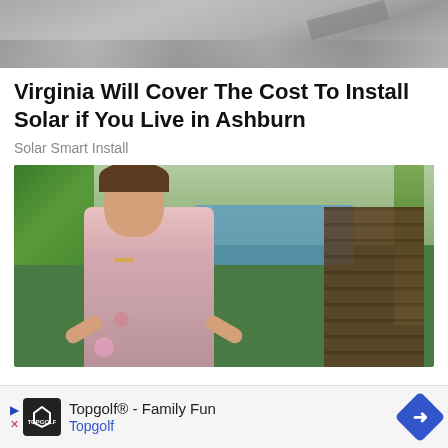[Figure (photo): Top portion of an image showing a grey textured surface, possibly concrete or gravel, cropped at the top of the page]
Virginia Will Cover The Cost To Install Solar if You Live in Ashburn
Solar Smart Install
[Figure (photo): A woman with short brown hair wearing a floral pink dress seated in a wooden chair at what appears to be a resort or hotel with a pool and palm trees in the background]
Topgolf® - Family Fun Topgolf